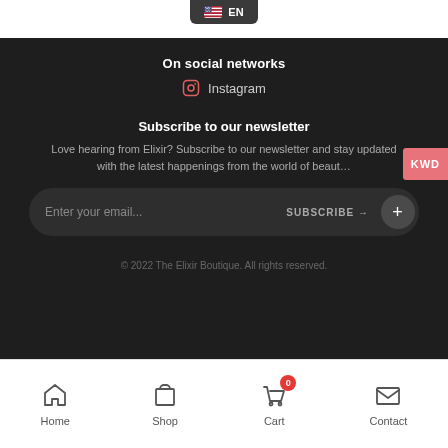EN
On social networks
Instagram
Subscribe to our newsletter
Love hearing from Elixir? Subscribe to our newsletter and stay updated with the latest happenings from the world of beaut…
Enter your email... SUBSCRIBE
© 2022 The Elixir Boutique. All rights reserved.
Home  Shop  Cart  Contact